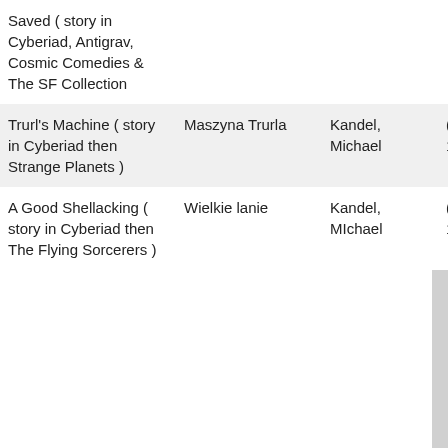| Title | Original Title | Translator | Date |
| --- | --- | --- | --- |
| Saved ( story in Cyberiad, Antigrav, Cosmic Comedies & The SF Collection |  |  |  |
| Trurl's Machine ( story in Cyberiad then Strange Planets ) | Maszyna Trurla | Kandel, Michael | ( 1964 ) 1974 |
| A Good Shellacking ( story in Cyberiad then The Flying Sorcerers ) | Wielkie lanie | Kandel, MIchael | ( 1964 ) 1974 |